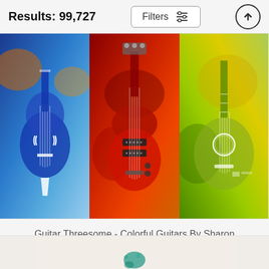Results: 99,727
[Figure (photo): Three colorful guitar art prints side by side: a blue abstract guitar on left, a red electric guitar in center, and a green/yellow acoustic guitar on right]
Guitar Threesome - Colorful Guitars By Sharon Cummings Art Print
Sharon Cummings
$26 (original price, crossed out)
$21 (sale price)
[Figure (photo): Partial view of another product below, showing a light beige background with a teal/blue paint splash or artistic element]